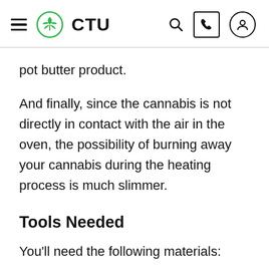CTU
pot butter product.
And finally, since the cannabis is not directly in contact with the air in the oven, the possibility of burning away your cannabis during the heating process is much slimmer.
Tools Needed
You'll need the following materials: